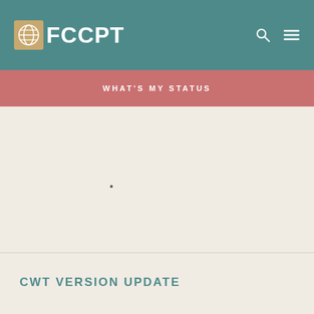FCCPT
WHAT'S MY STATUS
CWT VERSION UPDATE